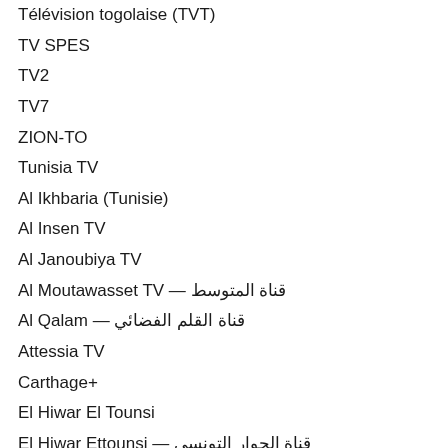Télévision togolaise (TVT)
TV SPES
TV2
TV7
ZION-TO
Tunisia TV
Al Ikhbaria (Tunisie)
Al Insen TV
Al Janoubiya TV
Al Moutawasset TV — قناة المتوسط
Al Qalam — قناة القلم الفضائي
Attessia TV
Carthage+
El Hiwar El Tounsi
El Hiwar Ettounsi — قناة الحوار التونسي
Ettounisia TV